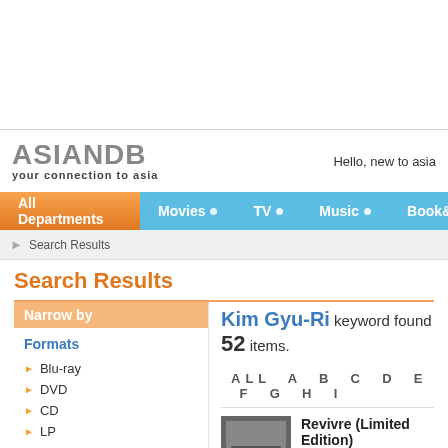ASIANDB your connection to asia — Hello, new to asia
All Departments  Movies  TV  Music  Book&Magazine
Search Results
Search Results
Narrow by
Formats
Blu-ray
DVD
CD
LP
Book&Magazine
Kim Gyu-Ri keyword found 52 items.
ALL A B C D E F G H I
Revivre (Limited Edition)
Ahn Seong-Gi, Kim Gyu-Ri(a), Kim Ho-
Blu-ray $59.98